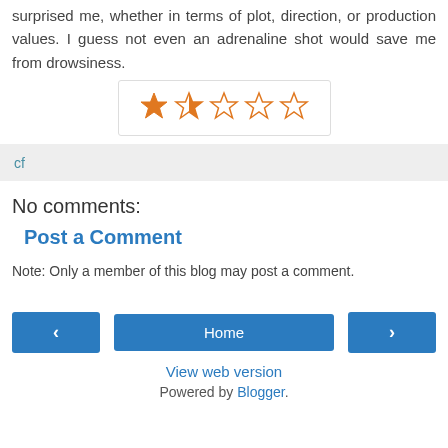surprised me, whether in terms of plot, direction, or production values. I guess not even an adrenaline shot would save me from drowsiness.
[Figure (other): Star rating widget showing 2 out of 5 stars filled in orange]
cf
No comments:
Post a Comment
Note: Only a member of this blog may post a comment.
Home
View web version
Powered by Blogger.